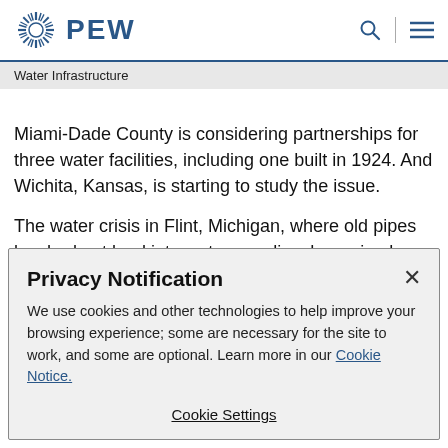PEW
Water Infrastructure
Miami-Dade County is considering partnerships for three water facilities, including one built in 1924. And Wichita, Kansas, is starting to study the issue.
The water crisis in Flint, Michigan, where old pipes leached out lead into water supplies, has raised new worries that
Privacy Notification
We use cookies and other technologies to help improve your browsing experience; some are necessary for the site to work, and some are optional. Learn more in our Cookie Notice.
Cookie Settings